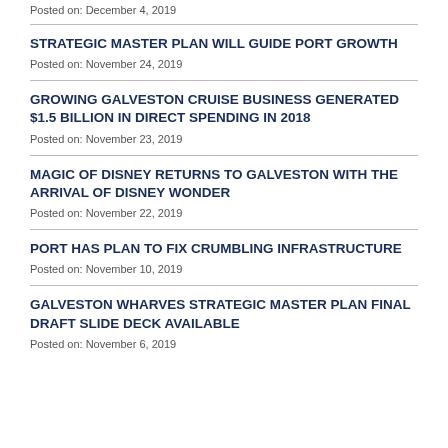Posted on: December 4, 2019
STRATEGIC MASTER PLAN WILL GUIDE PORT GROWTH
Posted on: November 24, 2019
GROWING GALVESTON CRUISE BUSINESS GENERATED $1.5 BILLION IN DIRECT SPENDING IN 2018
Posted on: November 23, 2019
MAGIC OF DISNEY RETURNS TO GALVESTON WITH THE ARRIVAL OF DISNEY WONDER
Posted on: November 22, 2019
PORT HAS PLAN TO FIX CRUMBLING INFRASTRUCTURE
Posted on: November 10, 2019
GALVESTON WHARVES STRATEGIC MASTER PLAN FINAL DRAFT SLIDE DECK AVAILABLE
Posted on: November 6, 2019